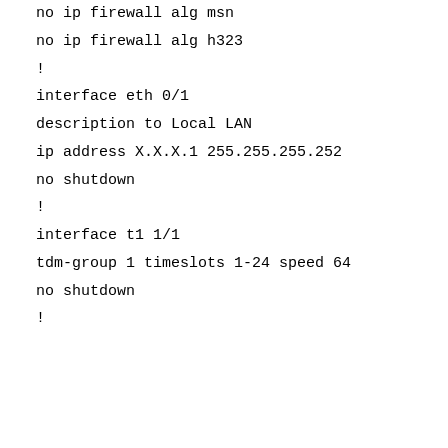no ip firewall alg msn
no ip firewall alg h323
!
interface eth 0/1
description to Local LAN
ip address X.X.X.1 255.255.255.252
no shutdown
!
interface t1 1/1
tdm-group 1 timeslots 1-24 speed 64
no shutdown
!